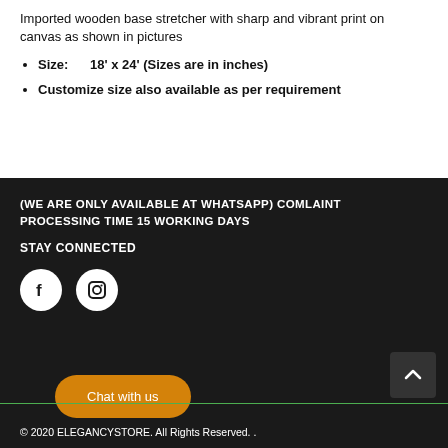Imported wooden base stretcher with sharp and vibrant print on canvas as shown in pictures
Size:      18' x 24' (Sizes are in inches)
Customize size also available as per requirement
(WE ARE ONLY AVAILABLE AT WHATSAPP) COMLAINT PROCESSING TIME 15 WORKING DAYS
STAY CONNECTED
[Figure (other): Facebook and Instagram social media icons (white circles on dark background)]
Chat with us
© 2020 ELEGANCYSTORE. All Rights Reserved. .